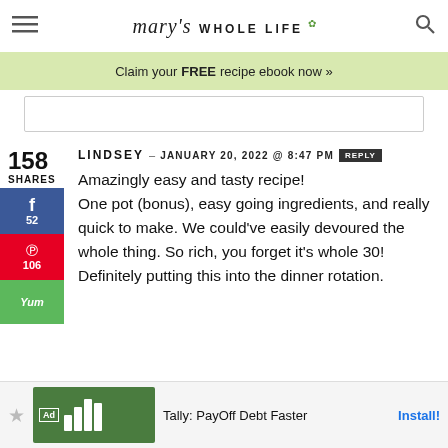mary's WHOLE LIFE
Claim your FREE recipe ebook now »
158 SHARES
LINDSEY – JANUARY 20, 2022 @ 8:47 PM REPLY
Amazingly easy and tasty recipe! One pot (bonus), easy going ingredients, and really quick to make. We could've easily devoured the whole thing. So rich, you forget it's whole 30! Definitely putting this into the dinner rotation.
Ad Tally: PayOff Debt Faster Install!